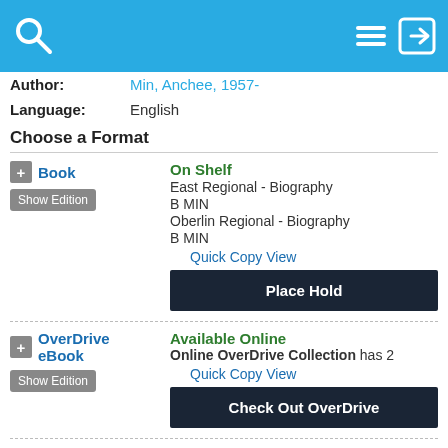[Figure (screenshot): Blue app header bar with search icon on left, hamburger menu and login arrow icons on right]
Author: Min, Anchee, 1957-
Language: English
Choose a Format
+ Book  Show Edition  On Shelf  East Regional - Biography  B MIN  Oberlin Regional - Biography  B MIN  Quick Copy View  Place Hold
+ OverDrive eBook  Show Edition  Available Online  Online OverDrive Collection has 2  Quick Copy View  Check Out OverDrive
Add a Review  Add To List  [email icon]
► More Details
► Also in This Series